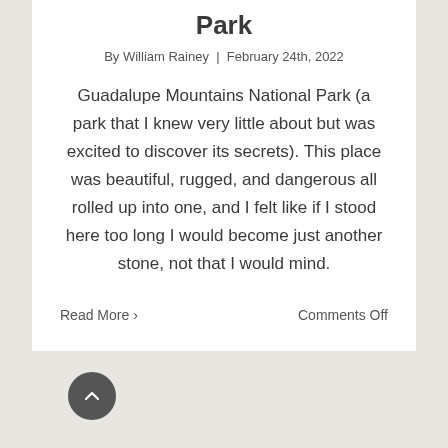Park
By William Rainey | February 24th, 2022
Guadalupe Mountains National Park (a park that I knew very little about but was excited to discover its secrets). This place was beautiful, rugged, and dangerous all rolled up into one, and I felt like if I stood here too long I would become just another stone, not that I would mind.
Read More ›
Comments Off